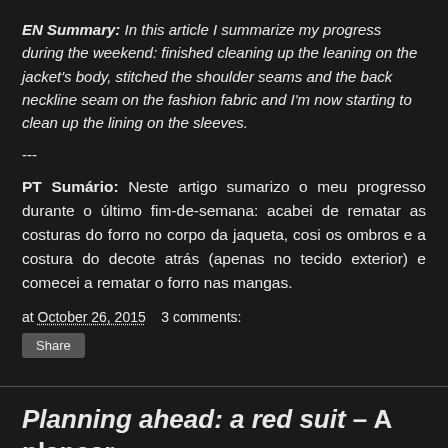EN Summary: In this article I summarize my progress during the weekend: finished cleaning up the leaning on the jacket's body, stitched the shoulder seams and the back neckline seam on the fashion fabric and I'm now starting to clean up the lining on the sleeves.
---
PT Sumário: Neste artigo sumarizo o meu progresso durante o último fim-de-semana: acabei de rematar as costuras do forro no corpo da jaqueta, cosi os ombros e a costura do decote atrás (apenas no tecido exterior) e comecei a rematar o forro nas mangas.
at October 26, 2015   3 comments:
Share
Planning ahead: a red suit – A planear com antecedência: conjunto calca-